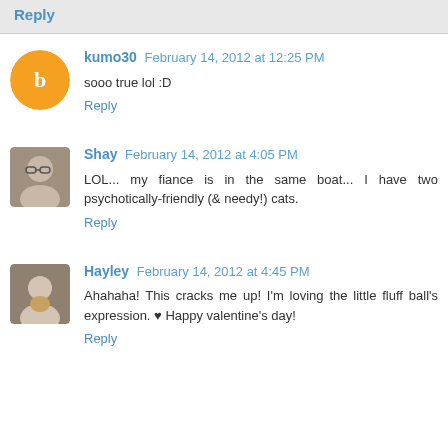Reply
kumo30  February 14, 2012 at 12:25 PM
sooo true lol :D
Reply
Shay  February 14, 2012 at 4:05 PM
LOL... my fiance is in the same boat... I have two psychotically-friendly (& needy!) cats.
Reply
Hayley  February 14, 2012 at 4:45 PM
Ahahaha! This cracks me up! I'm loving the little fluff ball's expression. ♥ Happy valentine's day!
Reply